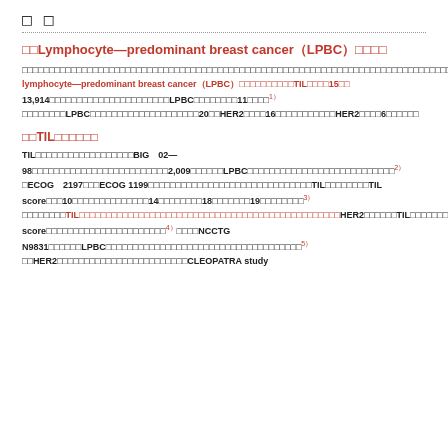□ □
□□Lymphocyte—predominant breast cancer（LPBC）□□□□
□□□□□□□□□□□□□□□□□□□□□□□□□□□□□□□□□□□□□□□□□□□□□□□□□□□□□□□□□□□□□□□□□□□□□□□□□□□□□□□□□□□□□□□□□□□□□□□□□□□□□□□□□□□□□□□□□□□□TIL□□□□□□50□□□□□60□□□□□□□□TIL□□□□□□ lymphocyte—predominant breast cancer（LPBC）□□□□□□□□TIL□□□□15□□13,914□□□□□□□□□□□□□□□□□□□□□□LPBC□□□□□□□□11□□□□¹□□□□□□□□LPBC□□□□□□□□□□□□□□□□□□□20□□HER2□□□□16□□□□□□□□□□□HER2□□□□6□□□□□□
□□TIL□□□□□□
TIL□□□□□□□□□□□□□□□□□□BIG 02—98□□□□□□□□□□□□□□□□□□□□□□□□□2,009□□□□□□LPBC□□□□□□□□□□□□□□□□□□□□□□□□□□□²□ECOG 2197□□□ECOG 1199□□□□□□□□□□□□□□□□□□□□□□□□□□□□□□TIL□□□□□□□□TIL score□□□10□□□□□□□□□□□□□□14□□□□□□□□18□□□□□□□19□□□□□□□□³□□□□□□□□TIL□□□□□□□□□□□□□□□□□□□□□□□□□□□□□□□□□□□□□□□□□HER2□□□□□□TIL□□□□□□□□□□FinHER□□□□□□□HER2□□□□209□□□□□□□□TIL score□□□□□□□□□□□□□□□□□□□□□□⁴□□□□NCCTG N9831□□□□□□LPBC□□□□□□□□□□□□□□□□□□□□□□□□□□□□□□□□□□□□□⁵□□HER2□□□□□□□□□□□□□□□□□□□□□□□□CLEOPATRA study